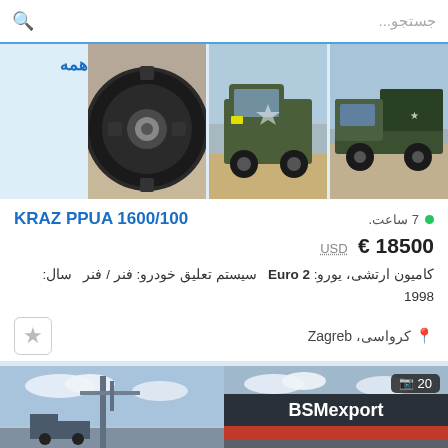جستجو...
[Figure (photo): Three images: close-up of truck tire, military green truck front view, military green truck side view]
همه
KRAZ PPUA 1600/100
7 ساعت.
18500 € USD
کامیون ارتشی، یورو: Euro 2  سیستم تعلیق خودرو: فنر / فنر  سال: 1998
کرواسی، Zagreb
[Figure (photo): Bottom strip: left image shows industrial structure against sky, right image shows BSMexport building facade with photo count badge showing 20]